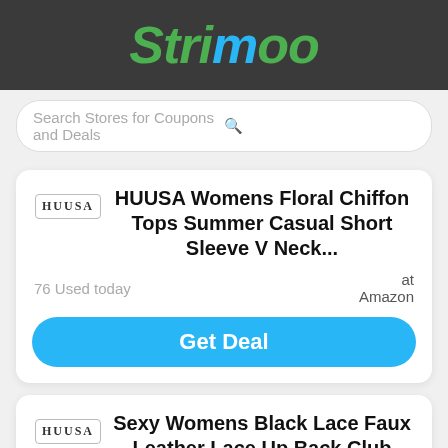Strimoo
Search Stores for Coupons and Deals
HUUSA Womens Floral Chiffon Tops Summer Casual Short Sleeve V Neck...
76 Used today
at Amazon
Get Deal
Sexy Womens Black Lace Faux Leather Lace Up Back Club Party Mini Dress...